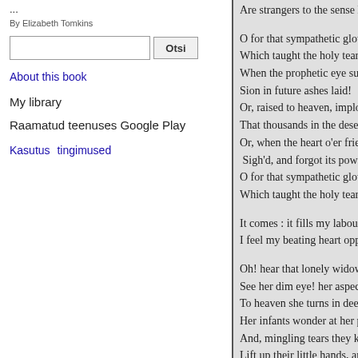...
By Elizabeth Tomkins
[search box] Otsi
About this book
My library
Raamatud teenuses Google Play
Kasutus tingimused
Are strangers to the sense h
O for that sympathetic glow
Which taught the holy tear t
When the prophetic eye sur
Sion in future ashes laid!
Or, raised to heaven, implo
That thousands in the deser
Or, when the heart o'er frien
 Sigh'd, and forgot its powe
O for that sympathetic glow
Which taught the holy tear t
It comes : it fills my labouri
I feel my beating heart oppr
Oh! hear that lonely widow
See her dim eye! her aspect
To heaven she turns in deep
Her infants wonder at her p
And, mingling tears they kr
Lift up their little hands, an
O God! their moving sorrow
Support them, sweet Huma